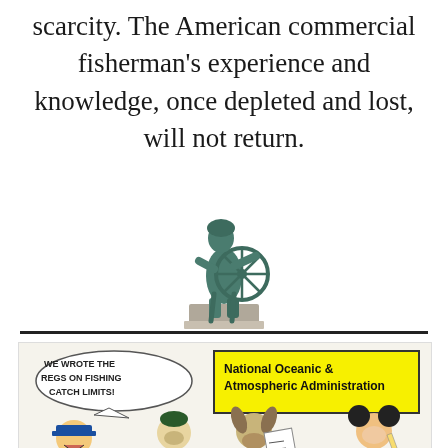scarcity. The American commercial fisherman's experience and knowledge, once depleted and lost, will not return.
[Figure (photo): Bronze statue of a fisherman at a ship's wheel (helm), green patina, mounted on a stone pedestal.]
[Figure (illustration): Political cartoon showing characters including Mickey Mouse, Goofy, and a sea captain holding documents in front of a sign reading 'National Oceanic & Atmospheric Administration'. Speech bubble says 'WE WROTE THE REGS ON FISHING CATCH LIMITS!']